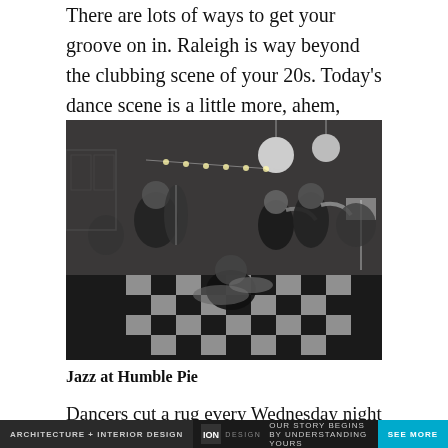There are lots of ways to get your groove on in. Raleigh is way beyond the clubbing scene of your 20s. Today's dance scene is a little more, ahem, elevated–from salsa to swing and everything in between.
[Figure (photo): Black and white photo of a jazz band performing inside Humble Pie restaurant, which has a checkered floor. Musicians include a bassist, drummer, and horn players.]
Jazz at Humble Pie
Dancers cut a rug every Wednesday night at Humble Pie,
ARCHITECTURE + INTERIOR DESIGN | ION DESIGN OUR STORY BEGINS BY UNDERSTANDING YOURS | SEE MORE